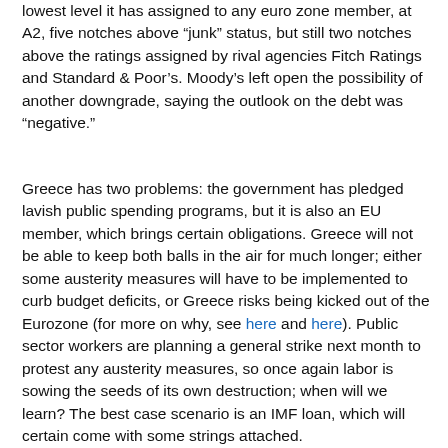lowest level it has assigned to any euro zone member, at A2, five notches above "junk" status, but still two notches above the ratings assigned by rival agencies Fitch Ratings and Standard & Poor's. Moody's left open the possibility of another downgrade, saying the outlook on the debt was "negative."
Greece has two problems: the government has pledged lavish public spending programs, but it is also an EU member, which brings certain obligations. Greece will not be able to keep both balls in the air for much longer; either some austerity measures will have to be implemented to curb budget deficits, or Greece risks being kicked out of the Eurozone (for more on why, see here and here). Public sector workers are planning a general strike next month to protest any austerity measures, so once again labor is sowing the seeds of its own destruction; when will we learn? The best case scenario is an IMF loan, which will certain come with some strings attached.